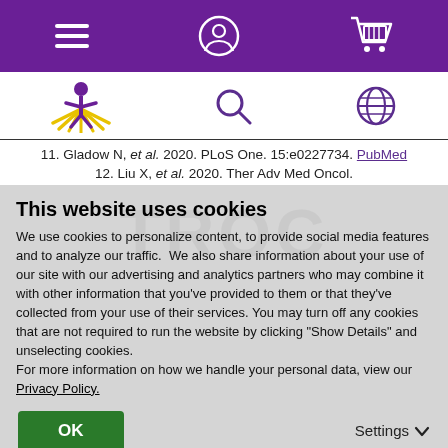Navigation bar with hamburger menu, user account icon, and shopping cart icon
Secondary navigation with logo (figure with rays), search icon, and globe icon
11. Gladow N, et al. 2020. PLoS One. 15:e0227734. PubMed
12. Liu X, et al. 2020. Ther Adv Med Oncol.
This website uses cookies
We use cookies to personalize content, to provide social media features and to analyze our traffic. We also share information about your use of our site with our advertising and analytics partners who may combine it with other information that you've provided to them or that they've collected from your use of their services. You may turn off any cookies that are not required to run the website by clicking "Show Details" and unselecting cookies.
For more information on how we handle your personal data, view our Privacy Policy.